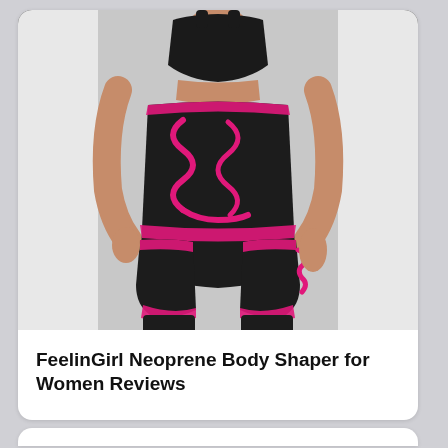[Figure (photo): A woman wearing a black neoprene body shaper / waist trainer with bright pink trim. The garment wraps around the waist and extends down both thighs with pink strap accents. She is wearing a black sports bra top. The background is white.]
FeelinGirl Neoprene Body Shaper for Women Reviews